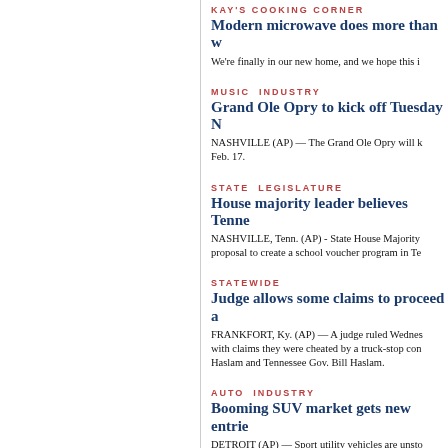KAY'S COOKING CORNER
Modern microwave does more than w...
We're finally in our new home, and we hope this i...
MUSIC INDUSTRY
Grand Ole Opry to kick off Tuesday N...
NASHVILLE (AP) — The Grand Ole Opry will k... Feb. 17.
STATE LEGISLATURE
House majority leader believes Tenne...
NASHVILLE, Tenn. (AP) - State House Majority... proposal to create a school voucher program in Te...
STATEWIDE
Judge allows some claims to proceed a...
FRANKFORT, Ky. (AP) — A judge ruled Wednes... with claims they were cheated by a truck-stop con... Haslam and Tennessee Gov. Bill Haslam.
AUTO INDUSTRY
Booming SUV market gets new entrie...
DETROIT (AP) — Sport utility vehicles are unsto... boom with some updated models coming to this y...
Tesla's 4Q profit falls on strong dollar...